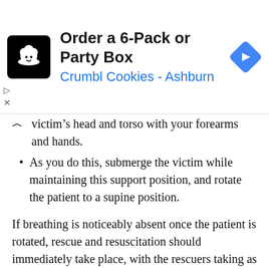[Figure (screenshot): Advertisement banner for Crumbl Cookies - Ashburn: Order a 6-Pack or Party Box. Shows cookie logo on black background, navigation arrow icon, and ad controls.]
victim's head and torso with your forearms and hands.
As you do this, submerge the victim while maintaining this support position, and rotate the patient to a supine position.
If breathing is noticeably absent once the patient is rotated, rescue and resuscitation should immediately take place, with the rescuers taking as much care of the individual's neck as possible.
Resuscitation takes priority over a spinal injury if the patient is unconscious and not breathing. If the patient is breathing, rescuers can take their time